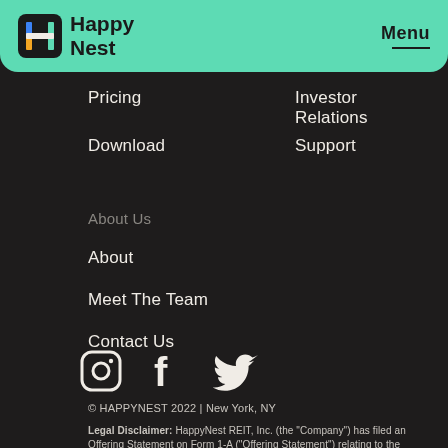[Figure (logo): HappyNest logo with green H icon and wordmark on green header bar, with Menu button on right]
Pricing
Investor Relations
Download
Support
About Us
About
Meet The Team
Contact Us
[Figure (illustration): Instagram, Facebook, and Twitter social media icons in white on dark background]
© HAPPYNEST 2022 | New York, NY
Legal Disclaimer: HappyNest REIT, Inc. (the "Company") has filed an Offering Statement on Form 1-A ("Offering Statement") relating to the offering of its